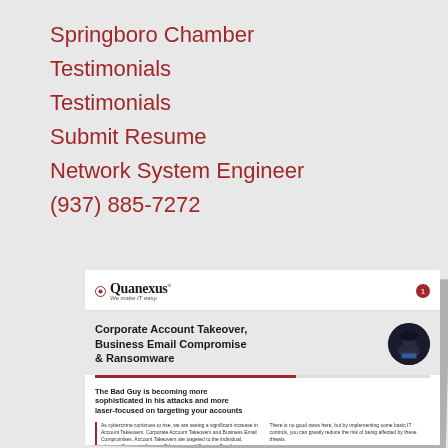Springboro Chamber
Testimonials
Testimonials
Submit Resume
Network System Engineer
(937) 885-7272
[Figure (illustration): A brochure from Quanexus titled 'Corporate Account Takeover, Business Email Compromise & Ransomware' with a Quanexus logo at top, hacker image circle, red decorative line, and body text columns about cybercrime threats.]